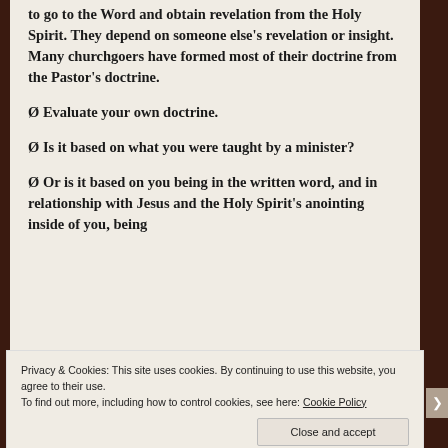to go to the Word and obtain revelation from the Holy Spirit. They depend on someone else's revelation or insight. Many churchgoers have formed most of their doctrine from the Pastor's doctrine.
Ø Evaluate your own doctrine.
Ø Is it based on what you were taught by a minister?
Ø Or is it based on you being in the written word, and in relationship with Jesus and the Holy Spirit's anointing inside of you, being
Privacy & Cookies: This site uses cookies. By continuing to use this website, you agree to their use.
To find out more, including how to control cookies, see here: Cookie Policy
Close and accept